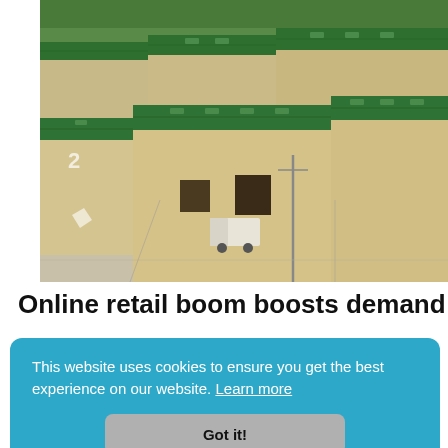[Figure (photo): Aerial view of warehouse complex with green roofs and beige walls, vehicles visible in parking area]
Online retail boom boosts demand for
This website uses cookies to ensure you get the best experience on our website. Learn more
, 2020
Got it!